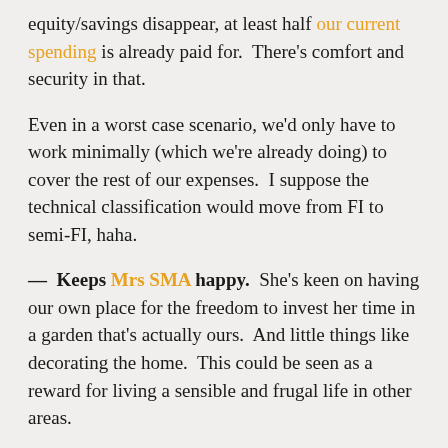equity/savings disappear, at least half our current spending is already paid for.  There's comfort and security in that.
Even in a worst case scenario, we'd only have to work minimally (which we're already doing) to cover the rest of our expenses.  I suppose the technical classification would move from FI to semi-FI, haha.
—  Keeps Mrs SMA happy.  She's keen on having our own place for the freedom to invest her time in a garden that's actually ours.  And little things like decorating the home.  This could be seen as a reward for living a sensible and frugal life in other areas.
—  The implied return is actually not that bad.  Housing cost now = $21,000 per year.  Housing costs after purchase = $5,000 per year (rates,